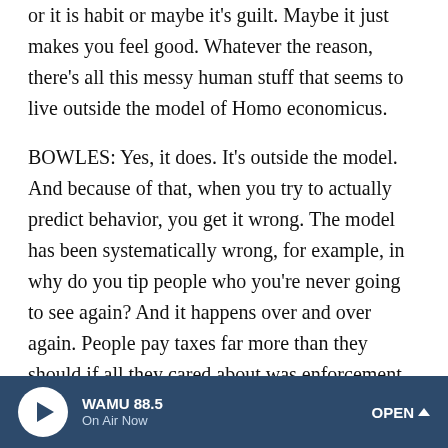or it is habit or maybe it's guilt. Maybe it just makes you feel good. Whatever the reason, there's all this messy human stuff that seems to live outside the model of Homo economicus.
BOWLES: Yes, it does. It's outside the model. And because of that, when you try to actually predict behavior, you get it wrong. The model has been systematically wrong, for example, in why do you tip people who you're never going to see again? And it happens over and over again. People pay taxes far more than they should if all they cared about was enforcement. That is, people have calculated whether or not the expected gain to trying to cheat is actually worth it. And it is. But people cheat remarkably little on their taxes. Or think about this - people often say - political scientists do and we often think that - well, when you go to the ballot box, you
WAMU 88.5 On Air Now OPEN